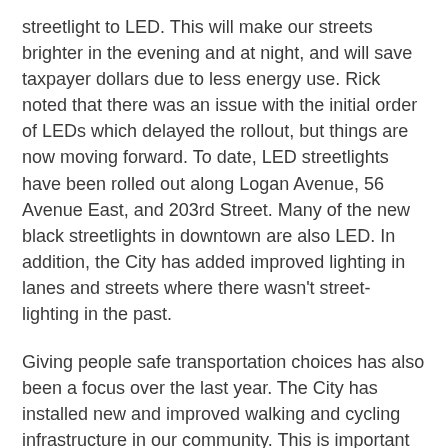streetlight to LED. This will make our streets brighter in the evening and at night, and will save taxpayer dollars due to less energy use. Rick noted that there was an issue with the initial order of LEDs which delayed the rollout, but things are now moving forward. To date, LED streetlights have been rolled out along Logan Avenue, 56 Avenue East, and 203rd Street. Many of the new black streetlights in downtown are also LED. In addition, the City has added improved lighting in lanes and streets where there wasn't street-lighting in the past.
Giving people safe transportation choices has also been a focus over the last year. The City has installed new and improved walking and cycling infrastructure in our community. This is important because as our community grows, we must give people choices to get out of congestion. The City has also installed traffic calming measures in our community which has resulted in drivers slowing down which creates safer streets.
Langley City's 2019 budget will be presented early next year, and I look forward to continuing the trend of infrastructure